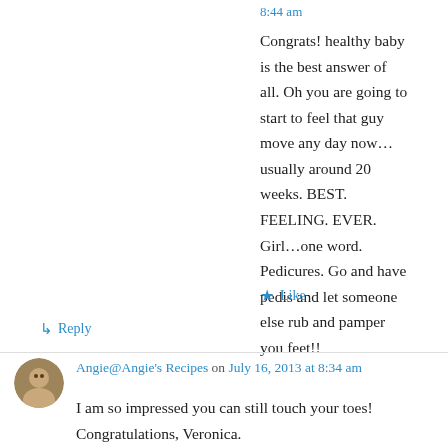8:44 am
Congrats! healthy baby is the best answer of all. Oh you are going to start to feel that guy move any day now...usually around 20 weeks. BEST. FEELING. EVER. Girl...one word. Pedicures. Go and have pedis and let someone else rub and pamper you feet!!
★ Like
↳ Reply
Angie@Angie's Recipes on July 16, 2013 at 8:34 am
I am so impressed you can still touch your toes! Congratulations, Veronica. These bee cupcakes look adorable.